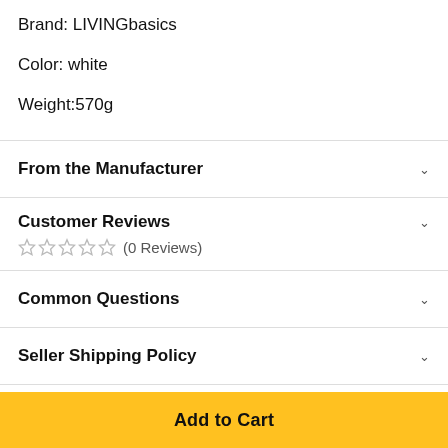Brand: LIVINGbasics
Color: white
Weight:570g
From the Manufacturer
Customer Reviews
☆☆☆☆☆ (0 Reviews)
Common Questions
Seller Shipping Policy
Seller Return Policy
Add to Cart